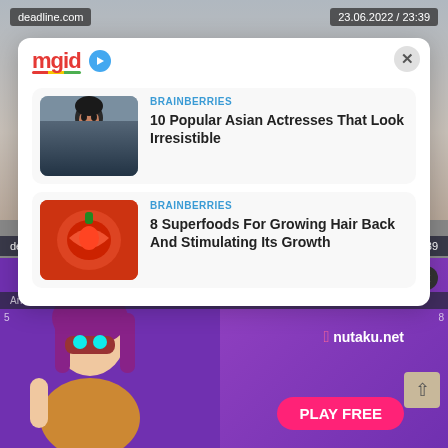deadline.com
23.06.2022 / 23:39
[Figure (screenshot): mgid content widget popup card with logo and two content recommendation items]
BRAINBERRIES
10 Popular Asian Actresses That Look Irresistible
BRAINBERRIES
8 Superfoods For Growing Hair Back And Stimulating Its Growth
Anonymous Content Jennifer Jarrer Joins Disney Branded
deadline.com
23.06.2022 / 23:39
[Figure (screenshot): Bottom ad banner: 18+ GAME nutaku.net PLAY FREE with anime character illustration]